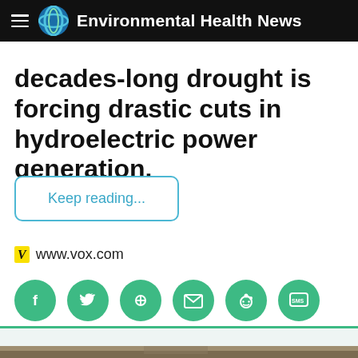Environmental Health News
decades-long drought is forcing drastic cuts in hydroelectric power generation.
Keep reading...
www.vox.com
[Figure (infographic): Row of six green circular social share buttons: Facebook, Twitter, Pinterest, Email, Reddit, SMS]
[Figure (photo): Partial photo of a dry riverbed or drought-affected landscape with bare trees and low water]